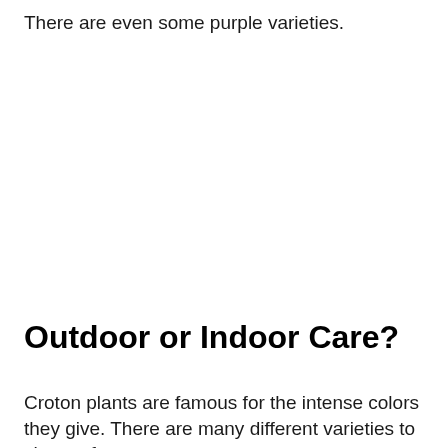There are even some purple varieties.
Outdoor or Indoor Care?
Croton plants are famous for the intense colors they give. There are many different varieties to choose from